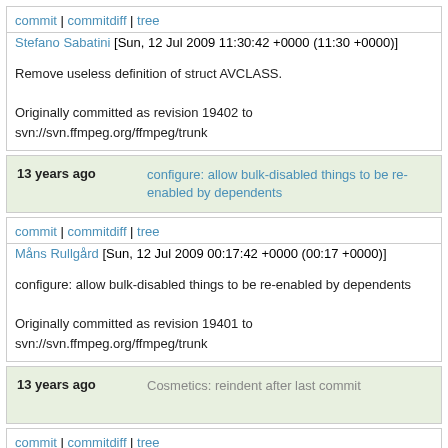commit | commitdiff | tree
Stefano Sabatini [Sun, 12 Jul 2009 11:30:42 +0000 (11:30 +0000)]
Remove useless definition of struct AVCLASS.

Originally committed as revision 19402 to svn://svn.ffmpeg.org/ffmpeg/trunk
13 years ago   configure: allow bulk-disabled things to be re-enabled by dependents
commit | commitdiff | tree
Måns Rullgård [Sun, 12 Jul 2009 00:17:42 +0000 (00:17 +0000)]
configure: allow bulk-disabled things to be re-enabled by dependents

Originally committed as revision 19401 to svn://svn.ffmpeg.org/ffmpeg/trunk
13 years ago   Cosmetics: reindent after last commit
commit | commitdiff | tree